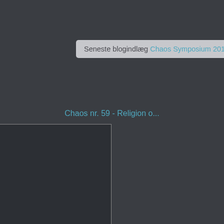Seneste blogindlæg Chaos Symposium 2014
Chaos nr. 59 - Religion o...
[Figure (photo): Dark placeholder image block for Chaos nr. 59 blog post thumbnail]
Læs mere >
Chaos nr. 50
[Figure (photo): Dark placeholder image block for Chaos nr. 50 blog post thumbnail, partially visible]